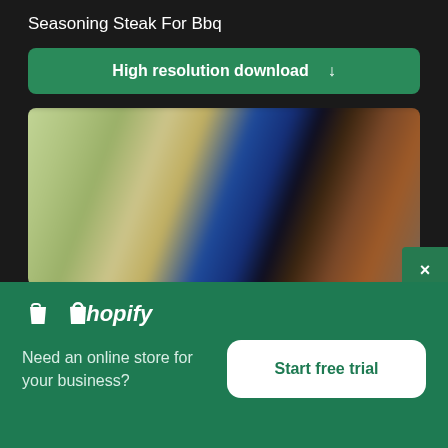Seasoning Steak For Bbq
High resolution download ↓
[Figure (photo): Blurred outdoor photo showing a person in blue clothing near what appears to be a grill or outdoor cooking setup with warm tones]
[Figure (logo): Shopify logo with shopping bag icon and italic 'shopify' text in white]
Need an online store for your business?
Start free trial